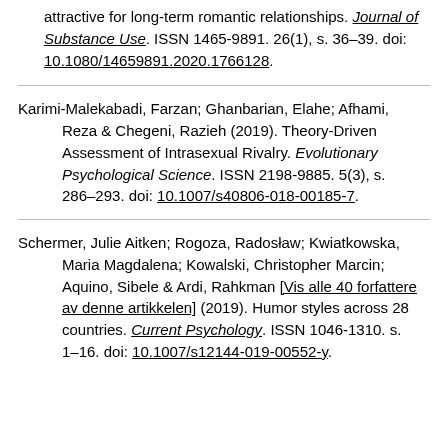attractive for long-term romantic relationships. Journal of Substance Use. ISSN 1465-9891. 26(1), s. 36–39. doi: 10.1080/14659891.2020.1766128.
Karimi-Malekabadi, Farzan; Ghanbarian, Elahe; Afhami, Reza & Chegeni, Razieh (2019). Theory-Driven Assessment of Intrasexual Rivalry. Evolutionary Psychological Science. ISSN 2198-9885. 5(3), s. 286–293. doi: 10.1007/s40806-018-00185-7.
Schermer, Julie Aitken; Rogoza, Radosław; Kwiatkowska, Maria Magdalena; Kowalski, Christopher Marcin; Aquino, Sibele & Ardi, Rahkman [Vis alle 40 forfattere av denne artikkelen] (2019). Humor styles across 28 countries. Current Psychology. ISSN 1046-1310. s. 1–16. doi: 10.1007/s12144-019-00552-y.